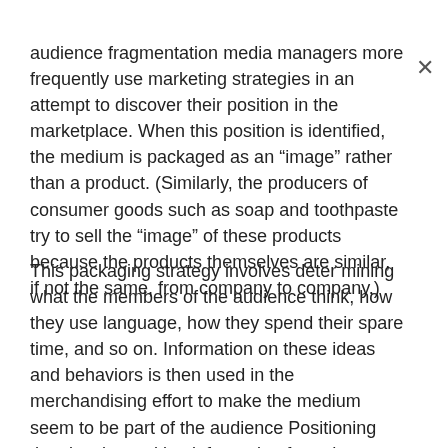audience fragmentation media managers more frequently use marketing strategies in an attempt to discover their position in the marketplace. When this position is identified, the medium is packaged as an “image” rather than a product. (Similarly, the producers of consumer goods such as soap and toothpaste try to sell the “image” of these products because the products themselves are similar, if not the same, from company to company.)
This packaging strategy involves deter mining what the members of the audience think, how they use language, how they spend their spare time, and so on. Information on these ideas and behaviors is then used in the merchandising effort to make the medium seem to be part of the audience Positioning thus involves taking information from the audience and incorporating that to project marketing the medium. (F...